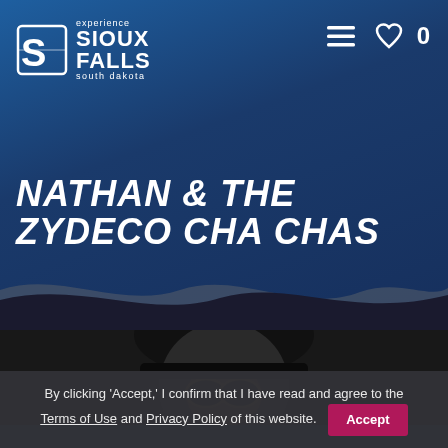[Figure (logo): Experience Sioux Falls, South Dakota logo with stylized S icon]
[Figure (illustration): Navigation icons: hamburger menu, heart icon, and 0 counter]
NATHAN & THE ZYDECO CHA CHAS
[Figure (photo): Person wearing large black hat and dark goggles/sunglasses, partially visible in lower portion of page]
By clicking 'Accept,' I confirm that I have read and agree to the Terms of Use and Privacy Policy of this website.
Accept